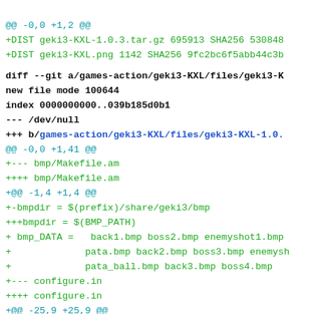@@ -0,0 +1,2 @@
+DIST geki3-KXL-1.0.3.tar.gz 695913 SHA256 530848
+DIST geki3-KXL.png 1142 SHA256 9fc2bc6f5abb44c3b
diff --git a/games-action/geki3-KXL/files/geki3-K
new file mode 100644
index 0000000000..039b185d0b1
--- /dev/null
+++ b/games-action/geki3-KXL/files/geki3-KXL-1.0.
@@ -0,0 +1,41 @@
+--- bmp/Makefile.am
++++ bmp/Makefile.am
+@@ -1,4 +1,4 @@
+-bmpdir = $(prefix)/share/geki3/bmp
+++bmpdir = $(BMP_PATH)
+ bmp_DATA =   back1.bmp boss2.bmp enemyshot1.bmp
+              pata.bmp back2.bmp boss3.bmp enemysh
+              pata_ball.bmp back3.bmp boss4.bmp
+--- configure.in
++++ configure.in
+@@ -25,9 +25,9 @@
+         BMP_PATH=/usr/local/share/geki3/bmp